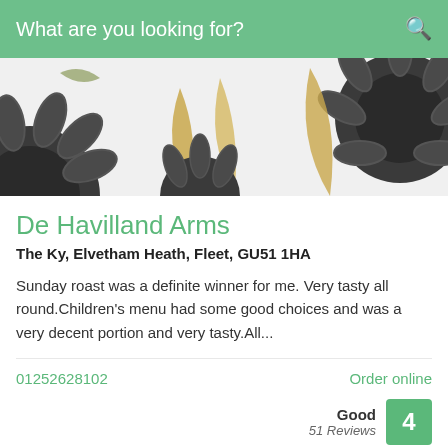What are you looking for?
[Figure (illustration): Decorative banner with illustrated sunflowers and golden leaves on a white/grey background]
De Havilland Arms
The Ky, Elvetham Heath, Fleet, GU51 1HA
Sunday roast was a definite winner for me. Very tasty all round.Children's menu had some good choices and was a very decent portion and very tasty.All...
01252628102
Order online
Good
51 Reviews
4
Italian Restaurants
Italian in Fleet →